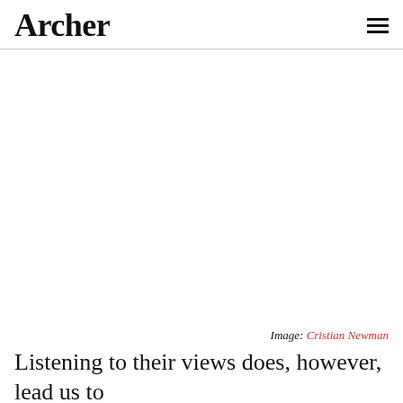Archer
[Figure (photo): Large white/blank image area occupying most of the page]
Image: Cristian Newman
Listening to their views does, however, lead us to